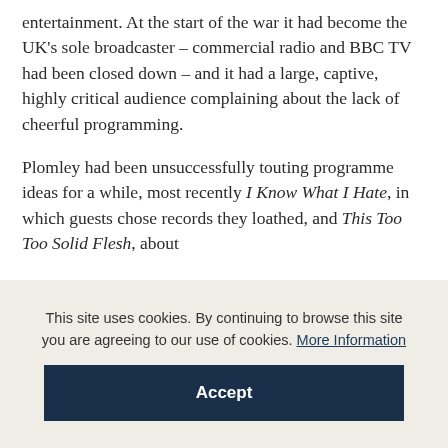entertainment. At the start of the war it had become the UK's sole broadcaster – commercial radio and BBC TV had been closed down – and it had a large, captive, highly critical audience complaining about the lack of cheerful programming.
Plomley had been unsuccessfully touting programme ideas for a while, most recently I Know What I Hate, in which guests chose records they loathed, and This Too Too Solid Flesh, about
This site uses cookies. By continuing to browse this site you are agreeing to our use of cookies. More Information
Accept